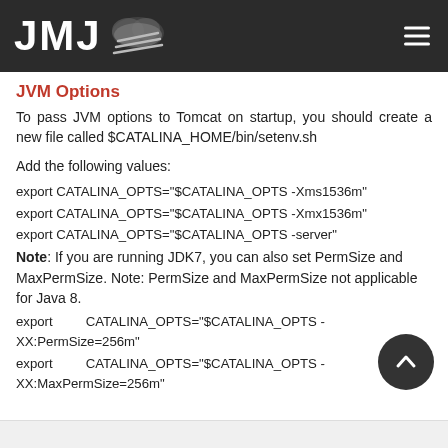JMJ [logo with cloud icon]
JVM Options
To pass JVM options to Tomcat on startup, you should create a new file called $CATALINA_HOME/bin/setenv.sh
Add the following values:
export CATALINA_OPTS="$CATALINA_OPTS -Xms1536m"
export CATALINA_OPTS="$CATALINA_OPTS -Xmx1536m"
export CATALINA_OPTS="$CATALINA_OPTS -server"
Note: If you are running JDK7, you can also set PermSize and MaxPermSize. Note: PermSize and MaxPermSize not applicable for Java 8.
export        CATALINA_OPTS="$CATALINA_OPTS -XX:PermSize=256m"
export        CATALINA_OPTS="$CATALINA_OPTS -XX:MaxPermSize=256m"